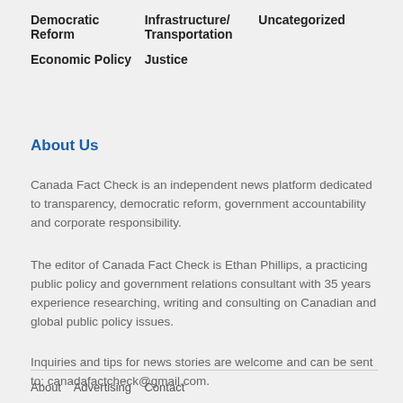| Democratic Reform | Infrastructure/
Transportation | Uncategorized |
| Economic Policy | Justice |  |
About Us
Canada Fact Check is an independent news platform dedicated to transparency, democratic reform, government accountability and corporate responsibility.
The editor of Canada Fact Check is Ethan Phillips, a practicing public policy and government relations consultant with 35 years experience researching, writing and consulting on Canadian and global public policy issues.
Inquiries and tips for news stories are welcome and can be sent to: canadafactcheck@gmail.com.
About   Advertising   Contact